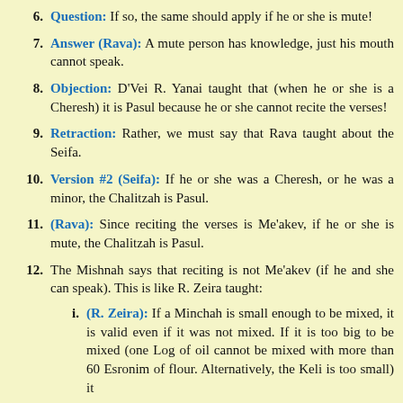6. Question: If so, the same should apply if he or she is mute!
7. Answer (Rava): A mute person has knowledge, just his mouth cannot speak.
8. Objection: D'Vei R. Yanai taught that (when he or she is a Cheresh) it is Pasul because he or she cannot recite the verses!
9. Retraction: Rather, we must say that Rava taught about the Seifa.
10. Version #2 (Seifa): If he or she was a Cheresh, or he was a minor, the Chalitzah is Pasul.
11. (Rava): Since reciting the verses is Me'akev, if he or she is mute, the Chalitzah is Pasul.
12. The Mishnah says that reciting is not Me'akev (if he and she can speak). This is like R. Zeira taught:
i. (R. Zeira): If a Minchah is small enough to be mixed, it is valid even if it was not mixed. If it is too big to be mixed (one Log of oil cannot be mixed with more than 60 Esronim of flour. Alternatively, the Keli is too small) it